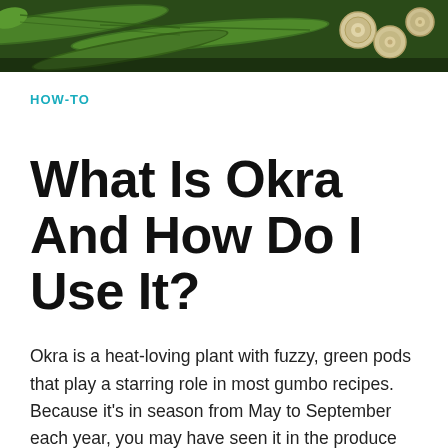[Figure (photo): Close-up photo of green okra pods with stems, dark green background with cross-section circles visible on the right side]
HOW-TO
What Is Okra And How Do I Use It?
Okra is a heat-loving plant with fuzzy, green pods that play a starring role in most gumbo recipes. Because it's in season from May to September each year, you may have seen it in the produce section of your grocery store recently. There's much more to okra than soups and stews, so if you've never tried this versatile, nutrient-packed vegetable, now is the time.